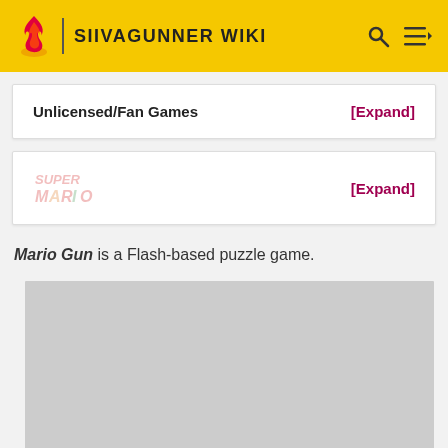SIIVAGUNNER WIKI
| Unlicensed/Fan Games | [Expand] |
| --- | --- |
[Figure (logo): Faded Super Mario logo text with colored letters, next to [Expand] link]
Mario Gun is a Flash-based puzzle game.
[Figure (photo): Gray placeholder image box]